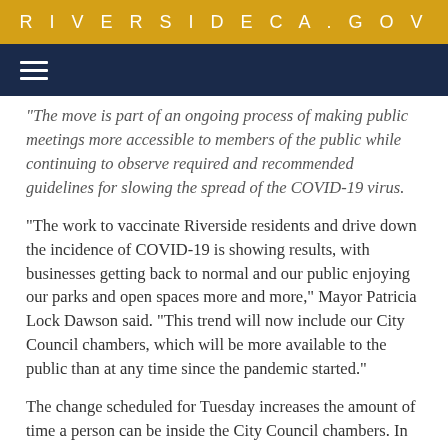RIVERSIDECA.GOV
“The move is part of an ongoing process of making public meetings more accessible to members of the public while continuing to observe required and recommended guidelines for slowing the spread of the COVID-19 virus.
“The work to vaccinate Riverside residents and drive down the incidence of COVID-19 is showing results, with businesses getting back to normal and our public enjoying our parks and open spaces more and more,” Mayor Patricia Lock Dawson said. “This trend will now include our City Council chambers, which will be more available to the public than at any time since the pandemic started.”
The change scheduled for Tuesday increases the amount of time a person can be inside the City Council chambers. In recent meetings, members of the public could enter